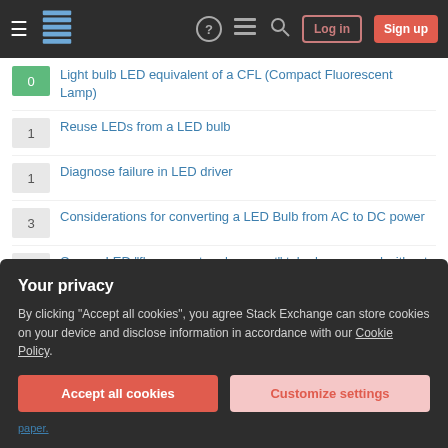Stack Exchange navigation bar with hamburger menu, logo, help, chat, search, Log in, Sign up buttons
0 - Light bulb LED equivalent of a CFL (Compact Fluorescent Lamp)
1 - Reuse LEDs from a LED bulb
1 - Diagnose failure in LED driver
3 - Considerations for converting a LED Bulb from AC to DC power
0 - Can an LED "fluorescent replacement" tube be powered without a ballast?
0 - Constant current source (aka "LED driver"): Behaviour with halogen light bulb
Hot Network Questions
Your privacy

By clicking "Accept all cookies", you agree Stack Exchange can store cookies on your device and disclose information in accordance with our Cookie Policy.

Accept all cookies   Customize settings